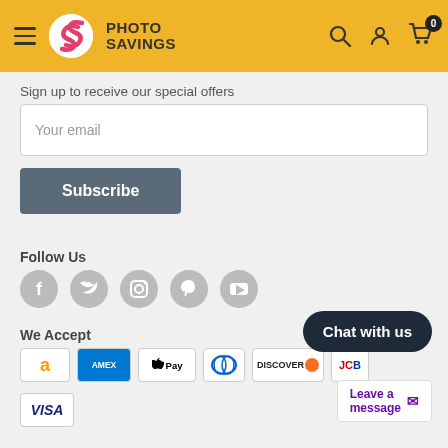[Figure (logo): Photo Savings logo with golden yellow navigation header bar, hamburger menu, search icon, account icon, cart icon with 0 badge]
Sign up to receive our special offers
Your email
Subscribe
Follow Us
[Figure (illustration): Five circular grey social media icons: Facebook, Twitter, Instagram, Pinterest, YouTube]
We Accept
[Figure (illustration): Payment method icons: Amazon, American Express, Apple Pay, Diners Club, Discover, JCB, Visa]
[Figure (illustration): Chat with us bubble and Leave a message tooltip]